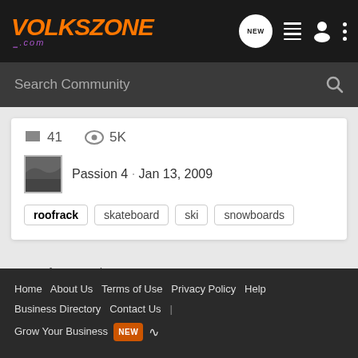VOLKSZONE .com
Search Community
41 comments · 5K views · Passion 4 · Jan 13, 2009
roofrack
skateboard
ski
snowboards
1-18 of 18 Results
< Search
Home  About Us  Terms of Use  Privacy Policy  Help  Business Directory  Contact Us  |  Grow Your Business  NEW  (rss)